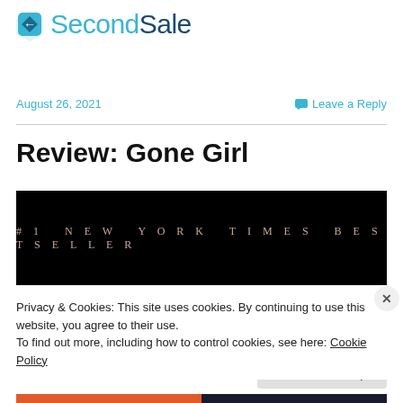[Figure (logo): SecondSale logo with arrow icon and two-tone text: 'Second' in light blue and 'Sale' in dark blue]
August 26, 2021
Leave a Reply
Review: Gone Girl
[Figure (photo): Book cover of Gone Girl showing '#1 NEW YORK TIMES BESTSELLER' text in spaced capitals on black background]
Privacy & Cookies: This site uses cookies. By continuing to use this website, you agree to their use.
To find out more, including how to control cookies, see here: Cookie Policy
Close and accept